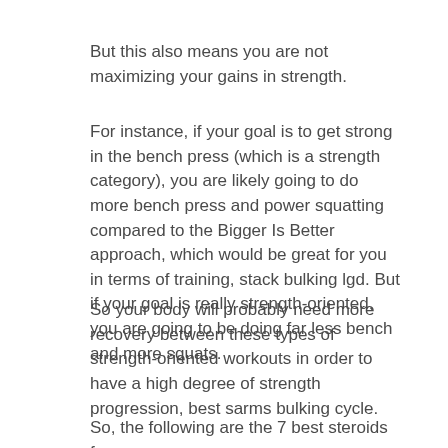But this also means you are not maximizing your gains in strength.
For instance, if your goal is to get strong in the bench press (which is a strength category), you are likely going to do more bench press and power squatting compared to the Bigger Is Better approach, which would be great for you in terms of training, stack bulking lgd. But if your goal is really strength-oriented, you are going to be doing far less bench and more squats.
So your body will probably need more recovery between these types of strength-oriented workouts in order to have a high degree of strength progression, best sarms bulking cycle.
So, the following are the 7 best steroids for